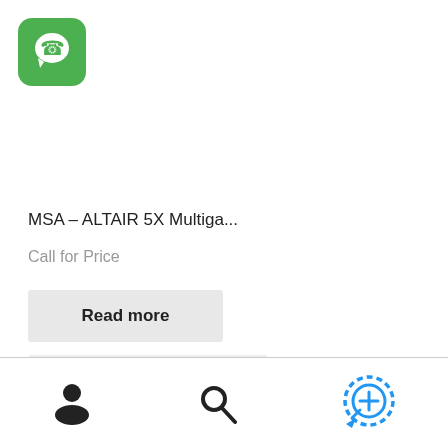[Figure (logo): WhatsApp green rounded square icon with white phone/chat bubble]
MSA – ALTAIR 5X Multiga...
Call for Price
Read more
Compare
[Figure (infographic): Bottom navigation bar with user/account icon (person silhouette), search icon (magnifying glass), and a blue circular target/zoom icon with plus sign]